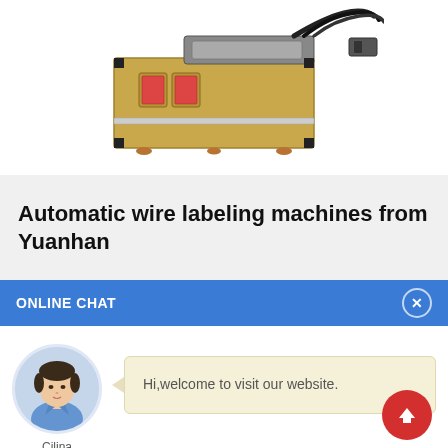[Figure (photo): Industrial automatic wire labeling machine, gold/metallic cabinet with black cables on top, on white background]
Automatic wire labeling machines from Yuanhan
ONLINE CHAT
[Figure (photo): Avatar photo of a woman named Cilina in a blue shirt]
Hi,welcome to visit our website.